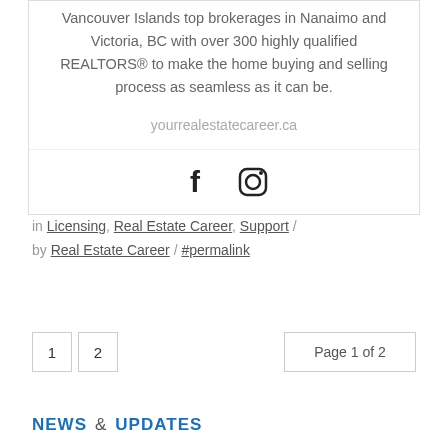Vancouver Islands top brokerages in Nanaimo and Victoria, BC with over 300 highly qualified REALTORS® to make the home buying and selling process as seamless as it can be.
yourrealestatecareer.ca
[Figure (other): Social media icons: Facebook and Instagram]
in Licensing, Real Estate Career, Support / by Real Estate Career / #permalink
1  2  Page 1 of 2
NEWS & UPDATES